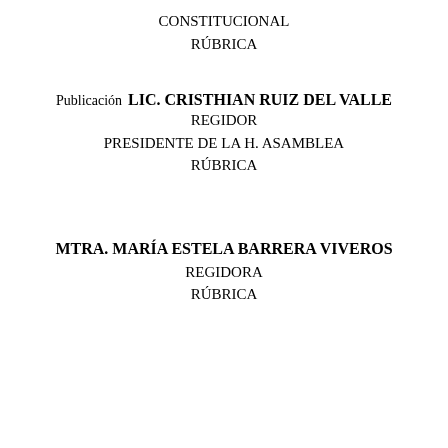CONSTITUCIONAL
RÚBRICA
Publicación
LIC. CRISTHIAN RUIZ DEL VALLE
REGIDOR
PRESIDENTE DE LA H. ASAMBLEA
RÚBRICA
MTRA. MARÍA ESTELA BARRERA VIVEROS
REGIDORA
RÚBRICA